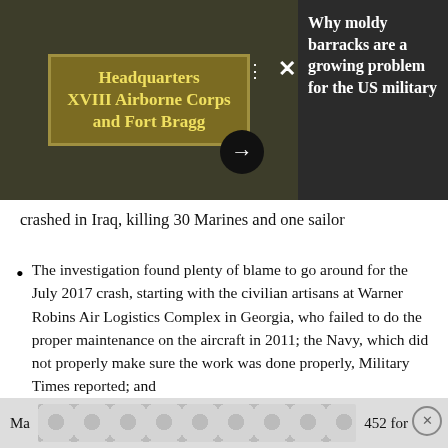[Figure (screenshot): Screenshot of a news webpage showing a photo of two soldiers looking at a sign reading 'Headquarters XVIII Airborne Corps and Fort Bragg', with a dark sidebar showing the headline 'Why moldy barracks are a growing problem for the US military'. Navigation controls (dots, X, arrow) are overlaid on the photo.]
crashed in Iraq, killing 30 Marines and one sailor
The investigation found plenty of blame to go around for the July 2017 crash, starting with the civilian artisans at Warner Robins Air Logistics Complex in Georgia, who failed to do the proper maintenance on the aircraft in 2011; the Navy, which did not properly make sure the work was done properly, Military Times reported; and
Ma... 452 for